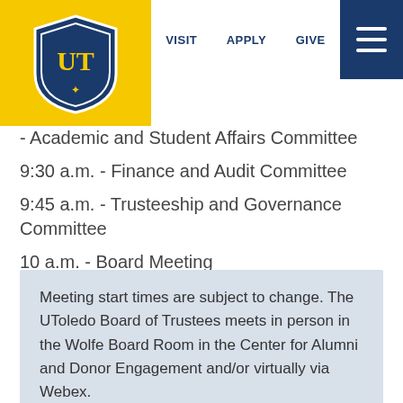[Figure (logo): University of Toledo shield logo on yellow background]
VISIT   APPLY   GIVE
- Academic and Student Affairs Committee
9:30 a.m. - Finance and Audit Committee
9:45 a.m. - Trusteeship and Governance Committee
10 a.m. - Board Meeting
Meeting start times are subject to change. The UToledo Board of Trustees meets in person in the Wolfe Board Room in the Center for Alumni and Donor Engagement and/or virtually via Webex.